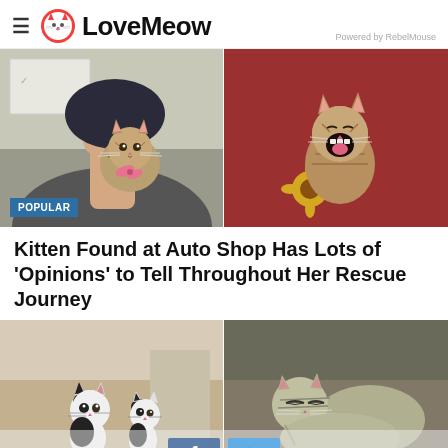LoveMeow — Powered by RebelMouse
[Figure (photo): Two-panel collage: left panel shows a tabby kitten with pink bow on a person's shoulder; right panel shows a tabby kitten yawning/meowing with mouth wide open against a red background. POPULAR badge in lower left.]
Kitten Found at Auto Shop Has Lots of 'Opinions' to Tell Throughout Her Rescue Journey
[Figure (photo): Two-panel collage: left panel shows two black-and-white kittens sitting on a tan carpet; right panel shows a tabby/gray kitten resting against a couch. Social share buttons (Facebook, Twitter) overlaid at the bottom center.]